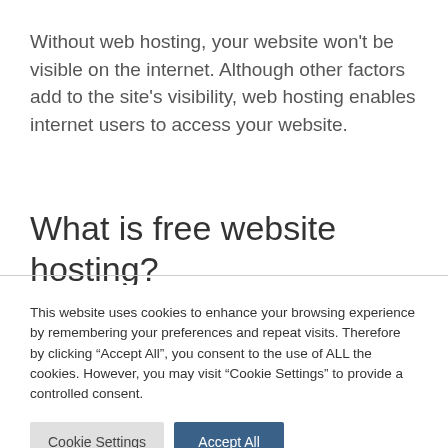Without web hosting, your website won’t be visible on the internet. Although other factors add to the site’s visibility, web hosting enables internet users to access your website.
What is free website hosting?
This website uses cookies to enhance your browsing experience by remembering your preferences and repeat visits. Therefore by clicking “Accept All”, you consent to the use of ALL the cookies. However, you may visit “Cookie Settings” to provide a controlled consent.